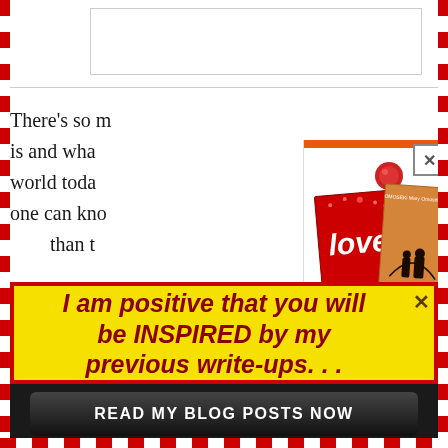There's so m... is and wha... world toda... one can kno... than t...
[Figure (illustration): Two book covers shown in a popup: 'Love Like No Other' with red cover and heart motifs, and a second book 'OMOSEKi Mary Omoseke me' with silhouette of family under arch. A red pin/thumbtack holds the books. Orange bar at top of popup, close X button in top right corner.]
I am positive that you will be INSPIRED by my previous write-ups. . .
READ MY BLOG POSTS NOW